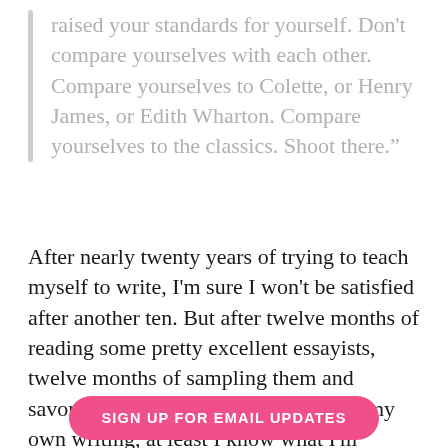raised your standards for yourself. Don’t compare yourselves with each other. Compare yourselves to Colette, or Henry James, or Edith Wharton. Compare yourselves to the classics. Shoot there.”
After nearly twenty years of trying to teach myself to write, I’m sure I won’t be satisfied after another ten. But after twelve months of reading some pretty excellent essayists, twelve months of sampling them and savoring them, now, when it comes to my own writing, at least I know what I’m shooting for.
SIGN UP FOR EMAIL UPDATES